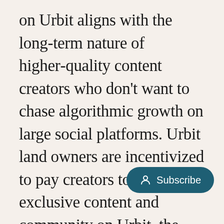on Urbit aligns with the long-term nature of higher-quality content creators who don't want to chase algorithmic growth on large social platforms. Urbit land owners are incentivized to pay creators to create exclusive content and community on Urbit, the new creators attract an increasing number of Urbit users, and the new users (DAOified) spend... to fund… more content and